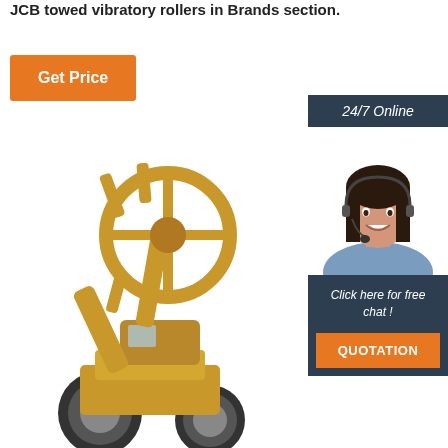JCB towed vibratory rollers in Brands section.
Get Price
[Figure (screenshot): 24/7 Online customer support sidebar banner with a smiling woman wearing a headset, dark navy background, text 'Click here for free chat!' and an orange QUOTATION button]
[Figure (photo): Yellow construction wheel loader machine with a circular attachment/grapple raised up, on a white background]